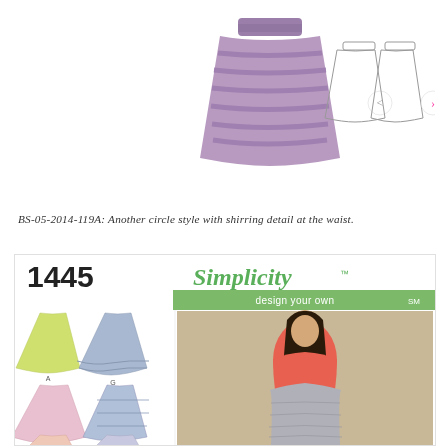[Figure (photo): Sewing pattern photo showing a purple striped circle skirt with shirring detail at the waist, with front and back technical sketches beside it]
BS-05-2014-119A: Another circle style with shirring detail at the waist.
[Figure (photo): Simplicity pattern 1445 'design your own' envelope showing 6 skirt variations (A through H) with small photos/illustrations, plus a model wearing a grey tweed flared skirt with pink top]